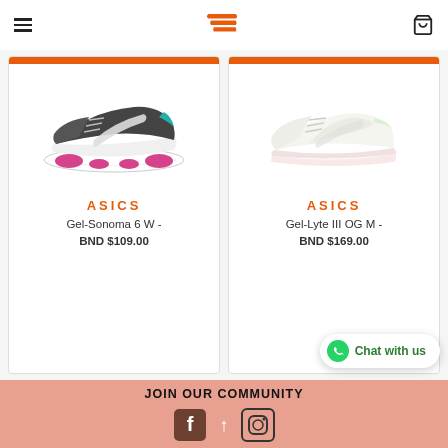Navigation header with hamburger menu, ASICS/running store logo, and cart icon
[Figure (photo): Dark gray ASICS Gel-Sonoma 6 W running shoe with magenta soles and teal accents on white background]
ASICS
Gel-Sonoma 6 W -
BND $109.00
[Figure (photo): White/cream ASICS Gel-Lyte III OG M sneaker on white background]
ASICS
Gel-Lyte III OG M -
BND $169.00
JOIN OUR COMMUNITY
[Figure (illustration): Social media icons: Facebook, up arrow, Instagram on salmon/pink background]
Chat with us